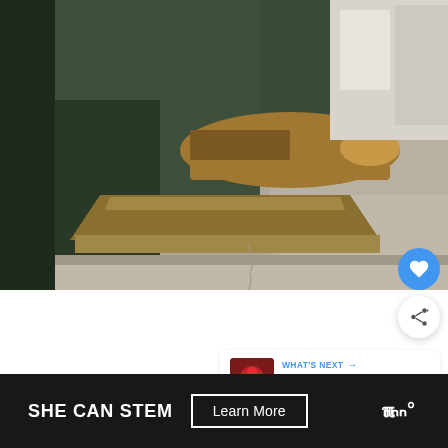[Figure (photo): Close-up photograph of a bronze statue's foot and base, showing detailed metalwork of a boot resting on a stone pedestal, with urban background visible]
[Figure (infographic): Heart/like button in blue circle (favorite), and share button in white circle with shadow]
[Figure (infographic): What's Next panel with thumbnail of food and text 'Food To Pack For Iceland: ...']
WHAT'S NEXT → Food To Pack For Iceland: ...
SHE CAN STEM  Learn More